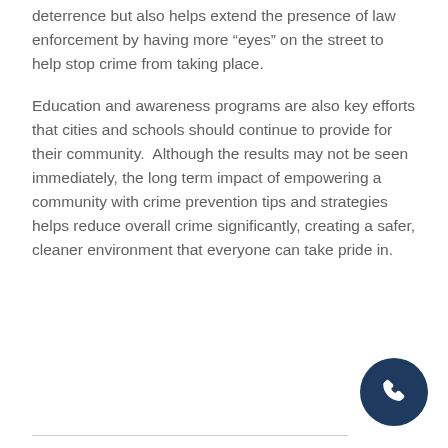deterrence but also helps extend the presence of law enforcement by having more “eyes” on the street to help stop crime from taking place.
Education and awareness programs are also key efforts that cities and schools should continue to provide for their community.  Although the results may not be seen immediately, the long term impact of empowering a community with crime prevention tips and strategies helps reduce overall crime significantly, creating a safer, cleaner environment that everyone can take pride in.
[Figure (other): Dark navy blue circular phone/call button icon in bottom right corner]